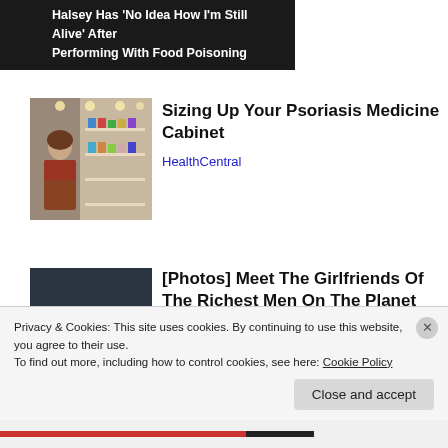Halsey Has 'No Idea How I'm Still Alive' After Performing With Food Poisoning
[Figure (photo): Woman browsing products in a pharmacy/grocery store aisle]
Sizing Up Your Psoriasis Medicine Cabinet
HealthCentral
[Figure (photo): Man and woman sitting together, both wearing sunglasses]
[Photos] Meet The Girlfriends Of The Richest Men On The Planet
Bon Voyaged
Privacy & Cookies: This site uses cookies. By continuing to use this website, you agree to their use.
To find out more, including how to control cookies, see here: Cookie Policy
Close and accept